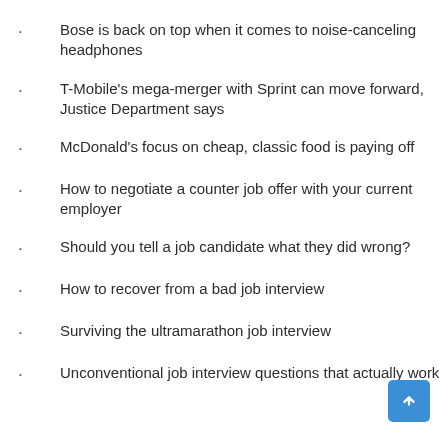Bose is back on top when it comes to noise-canceling headphones
T-Mobile’s mega-merger with Sprint can move forward, Justice Department says
McDonald’s focus on cheap, classic food is paying off
How to negotiate a counter job offer with your current employer
Should you tell a job candidate what they did wrong?
How to recover from a bad job interview
Surviving the ultramarathon job interview
Unconventional job interview questions that actually work